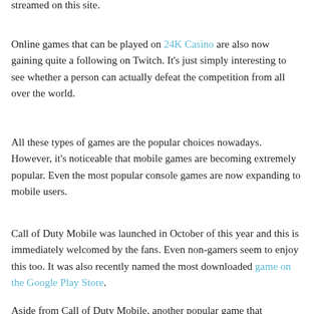streamed on this site.
Online games that can be played on 24K Casino are also now gaining quite a following on Twitch. It's just simply interesting to see whether a person can actually defeat the competition from all over the world.
All these types of games are the popular choices nowadays. However, it's noticeable that mobile games are becoming extremely popular. Even the most popular console games are now expanding to mobile users.
Call of Duty Mobile was launched in October of this year and this is immediately welcomed by the fans. Even non-gamers seem to enjoy this too. It was also recently named the most downloaded game on the Google Play Store.
Aside from Call of Duty Mobile, another popular game that